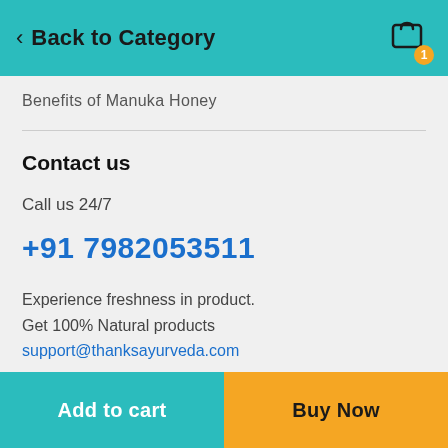< Back to Category
Benefits of Manuka Honey
Contact us
Call us 24/7
+91 7982053511
Experience freshness in product.
Get 100% Natural products
support@thanksayurveda.com
Add to cart | Buy Now